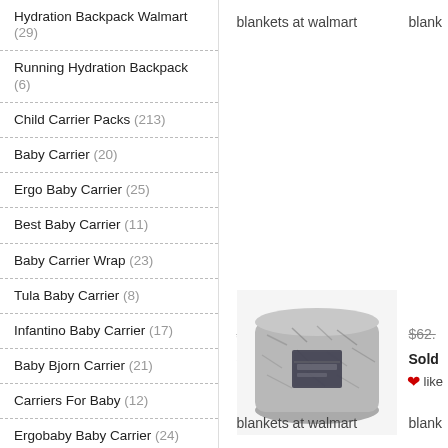Hydration Backpack Walmart (29)
Running Hydration Backpack (6)
Child Carrier Packs (213)
Baby Carrier (20)
Ergo Baby Carrier (25)
Best Baby Carrier (11)
Baby Carrier Wrap (23)
Tula Baby Carrier (8)
Infantino Baby Carrier (17)
Baby Bjorn Carrier (21)
Carriers For Baby (12)
Ergobaby Baby Carrier (24)
Baby Carrier Backpack (19)
Ergo Baby Carrier 360 (22)
Hiking Baby Carrier (11)
blankets at walmart
$59.34  $29.67   $62.
Sold: 1449   Sold
★★★★★(351)  ❤like ★★
[Figure (photo): Rolled gray and white marled blanket product photo]
blankets at walmart
blank